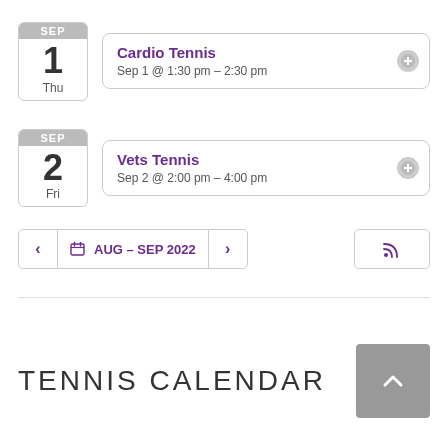Cardio Tennis — Sep 1 @ 1:30 pm – 2:30 pm
Vets Tennis — Sep 2 @ 2:00 pm – 4:00 pm
AUG – SEP 2022
TENNIS CALENDAR